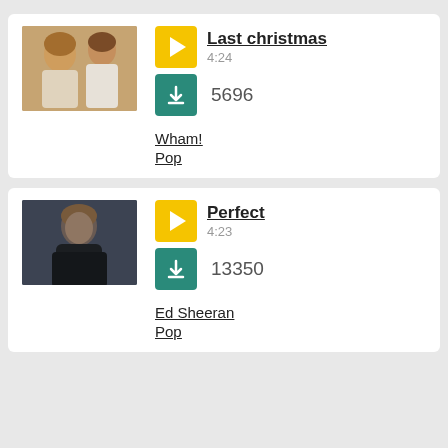[Figure (other): Music listing card for 'Last christmas' by Wham! - Pop, duration 4:24, download count 5696]
[Figure (other): Music listing card for 'Perfect' by Ed Sheeran - Pop, duration 4:23, download count 13350]